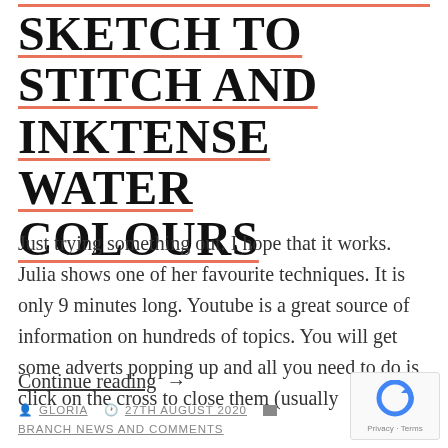SKETCH TO STITCH AND INKTENSE WATER COLOURS
Just trying something out. I hope that it works. Julia shows one of her favourite techniques. It is only 9 minutes long. Youtube is a great source of information on hundreds of topics. You will get some adverts popping up and all you need to do is click on the cross to close them (usually
Continue reading →
GLORIA  27TH AUGUST 2020  BRANCH NEWS AND COMMENTS